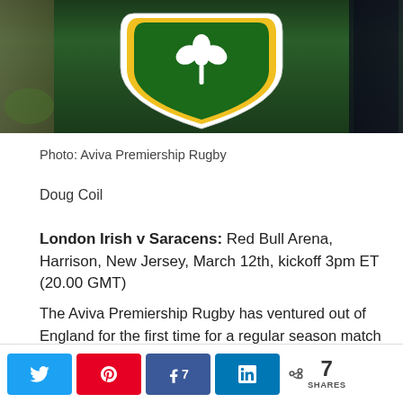[Figure (photo): Photo of a green shamrock/four-leaf clover shield sign with yellow border, London Irish rugby club logo, against a dark background with outdoor elements visible]
Photo: Aviva Premiership Rugby
Doug Coil
London Irish v Saracens: Red Bull Arena, Harrison, New Jersey, March 12th, kickoff 3pm ET (20.00 GMT)
The Aviva Premiership Rugby has ventured out of England for the first time for a regular season match in an effort to expand their market into the United States. A sizeable crowd is expected for this match, although in
7 SHARES